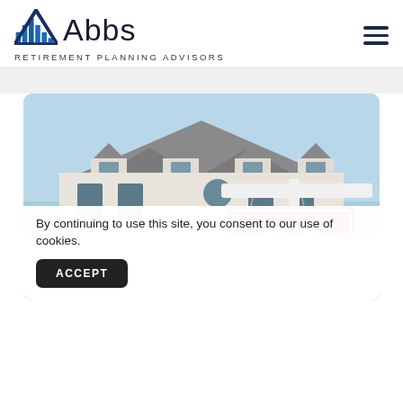[Figure (logo): Abbs Retirement Planning Advisors logo with stylized blue bar-chart mountain icon and company name]
[Figure (photo): A suburban house with multiple gabled dormers seen in the background, with a red FOR SALE sign in the foreground mounted on a white post]
By continuing to use this site, you consent to our use of cookies.
ACCEPT